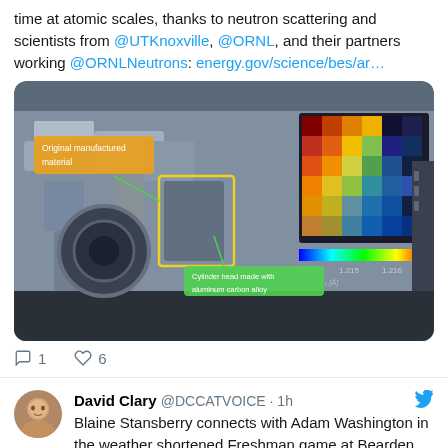time at atomic scales, thanks to neutron scattering and scientists from @UTKnoxville, @ORNL, and their partners working @ORNLNeutrons: energy.gov/science/bes/ar…
[Figure (photo): Photo of an engine/motor component with neutron scattering analysis overlay. Labels show 'Original manufactured material' and 'Cylinder head made with aluminum carbon alloy'. A heat map color scale on the right shows d111 [Å] values from 1.214 to 1.216.]
1 reply, 6 likes
David Clary @DCCATVOICE · 1h
Blaine Stansberry connects with Adam Washington in the weather shortened Freshman game at Bearden. The game was stopped due to lightning in the third quarter. It never resumed. Oak Ridge will